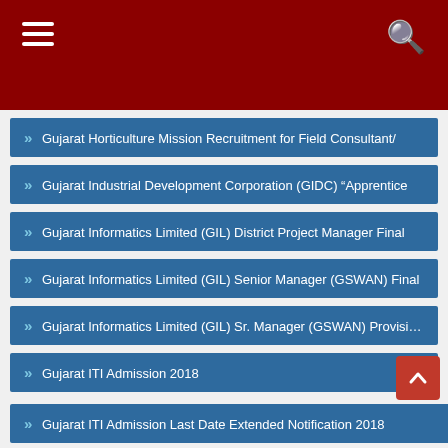Navigation menu header bar with hamburger menu and search icon
Gujarat Horticulture Mission Recruitment for Field Consultant/
Gujarat Industrial Development Corporation (GIDC) "Apprentice
Gujarat Informatics Limited (GIL) District Project Manager Final
Gujarat Informatics Limited (GIL) Senior Manager (GSWAN) Final
Gujarat Informatics Limited (GIL) Sr. Manager (GSWAN) Provisional
Gujarat ITI Admission 2018
Gujarat ITI Admission Last Date Extended Notification 2018
Gujarat ma 60 Varshe Nivrut Thashe Karmachari : News Report
Gujarat Medical Education Admission 2018
Gujarat Mineral Development Corporation
Gujarat Narmada Valley Fertilizers amp; Chemicals Limited
Gujarat National Law University (GNLU) Recruitment for Assistant